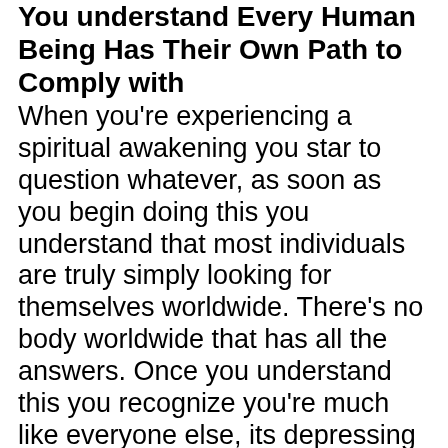You understand Every Human Being Has Their Own Path to Comply with
When you're experiencing a spiritual awakening you star to question whatever, as soon as you begin doing this you understand that most individuals are truly simply looking for themselves worldwide. There's no body worldwide that has all the answers. Once you understand this you recognize you're much like everyone else, its depressing to see that lots of people think they recognize a lot however the reality is nobody knows a lot in this world. It's a fast lane ever changing globe without any actual guidelines as well as you need to figure out everything. There are pals and books and also videos on just how to browse particular areas through life but despite this individuals are still lost in